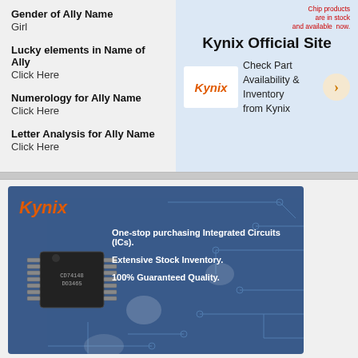Gender of Ally Name
Girl
Lucky elements in Name of Ally
Click Here
Numerology for Ally Name
Click Here
Letter Analysis for Ally Name
Click Here
[Figure (advertisement): Kynix Official Site advertisement with logo, 'Check Part Availability & Inventory from Kynix' text, and arrow button on light blue background]
[Figure (advertisement): Kynix banner ad on dark blue background with circuit board pattern, IC chip image, Kynix logo in orange italic, and text: One-stop purchasing Integrated Circuits (ICs). Extensive Stock Inventory. 100% Guaranteed Quality.]